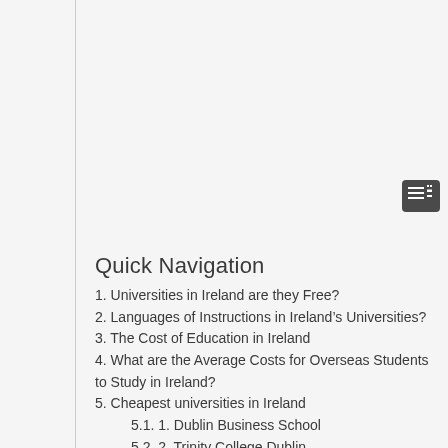[Figure (other): Table of contents icon button in top-right area]
Quick Navigation
1. Universities in Ireland are they Free?
2. Languages of Instructions in Ireland’s Universities?
3. The Cost of Education in Ireland
4. What are the Average Costs for Overseas Students to Study in Ireland?
5. Cheapest universities in Ireland
5.1. 1. Dublin Business School
5.2. 2. Trinity College Dublin